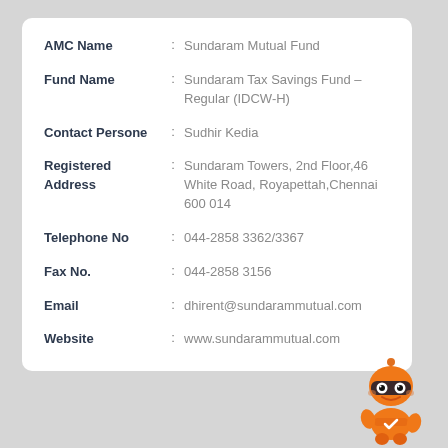AMC Name : Sundaram Mutual Fund
Fund Name : Sundaram Tax Savings Fund - Regular (IDCW-H)
Contact Persone : Sudhir Kedia
Registered Address : Sundaram Towers, 2nd Floor,46 White Road, Royapettah,Chennai 600 014
Telephone No : 044-2858 3362/3367
Fax No. : 044-2858 3156
Email : dhirent@sundarammutual.com
Website : www.sundarammutual.com
[Figure (illustration): Orange cartoon robot mascot character]